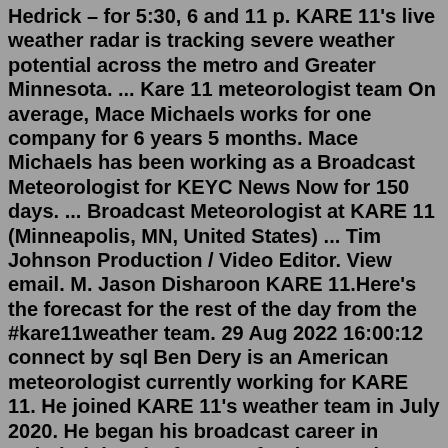Hedrick – for 5:30, 6 and 11 p. KARE 11's live weather radar is tracking severe weather potential across the metro and Greater Minnesota. ... Kare 11 meteorologist team On average, Mace Michaels works for one company for 6 years 5 months. Mace Michaels has been working as a Broadcast Meteorologist for KEYC News Now for 150 days. ... Broadcast Meteorologist at KARE 11 (Minneapolis, MN, United States) ... Tim Johnson Production / Video Editor. View email. M. Jason Disharoon KARE 11.Here's the forecast for the rest of the day from the #kare11weather team. 29 Aug 2022 16:00:12 connect by sql Ben Dery is an American meteorologist currently working for KARE 11. He joined KARE 11's weather team in July 2020. He began his broadcast career in Duluth doing the forecast for the morning show. Before that, he graduated from SCSU with a degree in meteorology, where he also took an internship at KARE in 2008.. 2022. 6. Aug 25, 2022 · Check out the first weather forecast for your Thursday morning from Mace Michaels and KARE